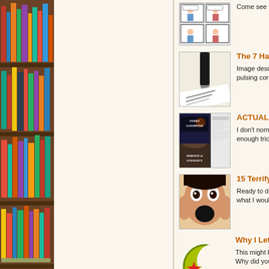[Figure (illustration): Bookshelf with colorful books on wooden shelves, left sidebar]
[Figure (photo): Thumbnail image of a cartoon/comic strip showing two people]
Come see the cartoon/ If yo
[Figure (photo): Close-up photo of a fountain pen writing on paper]
The 7 Habits o
Image descrip pulsing core o
[Figure (photo): Book cover of Terry Goodkind's Shroud of Eternity alongside text/screenshot]
ACTUAL Pro
I don't normal enough tricky
[Figure (photo): Person with shocked/terrified expression, hands on cheeks]
15 Terrifying
Ready to do so what I wouldn
[Figure (illustration): Logo with yellow-green crescent moon and red star symbol]
Why I Left Isl
This might be Why did you